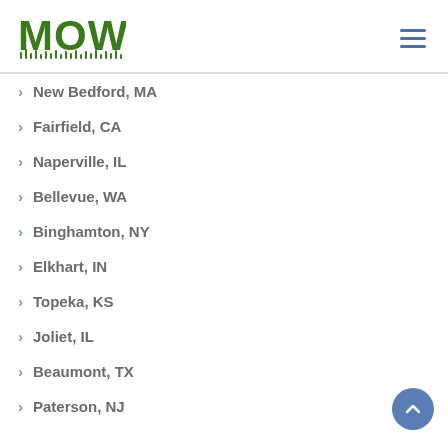[Figure (logo): MOWD logo in green bold text with grass graphic underneath]
New Bedford, MA
Fairfield, CA
Naperville, IL
Bellevue, WA
Binghamton, NY
Elkhart, IN
Topeka, KS
Joliet, IL
Beaumont, TX
Paterson, NJ